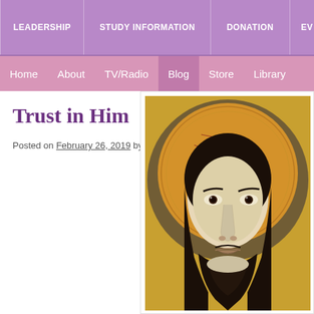LEADERSHIP | STUDY INFORMATION | DONATION | EV...
Home | About | TV/Radio | Blog | Store | Library
Trust in Him
Posted on February 26, 2019 by Women of Grace Staff
[Figure (illustration): Byzantine icon painting showing the face of Christ (Jesus) with dark hair, beard, and a golden halo background — cropped to face and upper portion.]